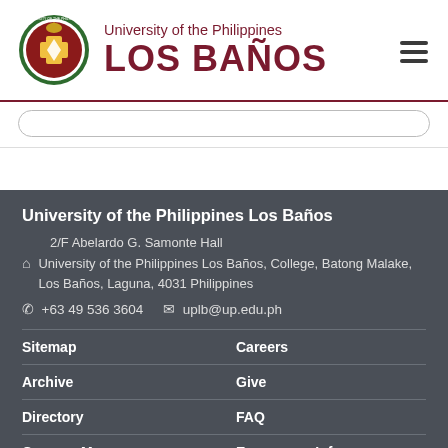[Figure (logo): University of the Philippines Los Baños seal/logo and wordmark header]
University of the Philippines Los Baños
2/F Abelardo G. Samonte Hall
University of the Philippines Los Baños, College, Batong Malake, Los Baños, Laguna, 4031 Philippines
+63 49 536 3604  uplb@up.edu.ph
Sitemap  Careers
Archive  Give
Directory  FAQ
Campus Map  Emergency Info